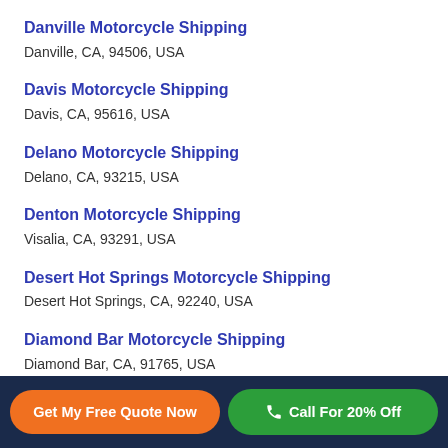Danville Motorcycle Shipping
Danville, CA, 94506, USA
Davis Motorcycle Shipping
Davis, CA, 95616, USA
Delano Motorcycle Shipping
Delano, CA, 93215, USA
Denton Motorcycle Shipping
Visalia, CA, 93291, USA
Desert Hot Springs Motorcycle Shipping
Desert Hot Springs, CA, 92240, USA
Diamond Bar Motorcycle Shipping
Diamond Bar, CA, 91765, USA
Dinuba Motorcycle Shipping
Get My Free Quote Now
Call For 20% Off